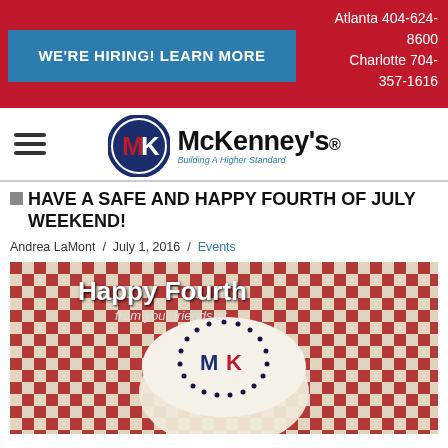WE'RE HIRING! LEARN MORE | Atlanta 404-624-8600 | Charlotte 704-357-1616
[Figure (logo): McKenney's logo with MK circular emblem and tagline 'Building A Higher Standard']
HAVE A SAFE AND HAPPY FOURTH OF JULY WEEKEND!
Andrea LaMont / July 1, 2016 / Events
[Figure (photo): Photo of a cake decorated with MK logo made from blueberries and raspberries on a red checkered tablecloth, with text 'Happy Fourth from your friends at']